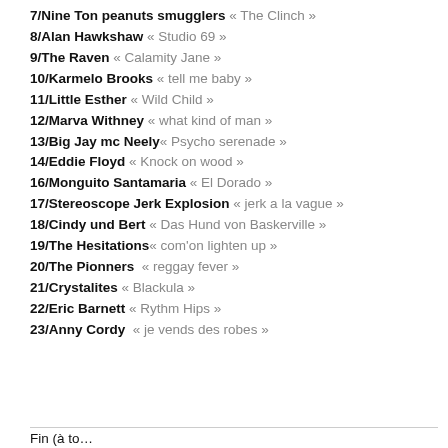7/Nine Ton peanuts smugglers « The Clinch »
8/Alan Hawkshaw « Studio 69 »
9/The Raven « Calamity Jane »
10/Karmelo Brooks « tell me baby »
11/Little Esther « Wild Child »
12/Marva Withney « what kind of man »
13/Big Jay mc Neely« Psycho serenade »
14/Eddie Floyd « Knock on wood »
16/Monguito Santamaria « El Dorado »
17/Stereoscope Jerk Explosion « jerk a la vague »
18/Cindy und Bert « Das Hund von Baskerville »
19/The Hesitations« com'on lighten up »
20/The Pionners  « reggay fever »
21/Crystalites « Blackula »
22/Eric Barnett « Rythm Hips »
23/Anny Cordy  « je vends des robes »
Fin (à to…